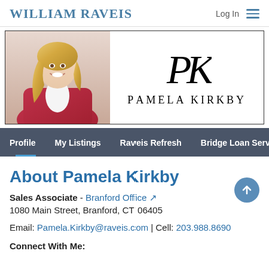WILLIAM RAVEIS
[Figure (photo): Profile banner showing a blonde woman in a red jacket on the left, and the Pamela Kirkby logo (PK monogram) with name on the right]
Profile
My Listings
Raveis Refresh
Bridge Loan Services
Awar...
About Pamela Kirkby
Sales Associate - Branford Office
1080 Main Street, Branford, CT 06405
Email: Pamela.Kirkby@raveis.com | Cell: 203.988.8690
Connect With Me: